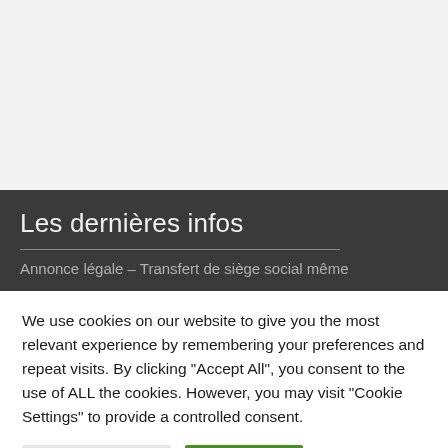Les dernières infos
Annonce légale – Transfert de siège social même
We use cookies on our website to give you the most relevant experience by remembering your preferences and repeat visits. By clicking "Accept All", you consent to the use of ALL the cookies. However, you may visit "Cookie Settings" to provide a controlled consent.
Cookie Settings | Accept All